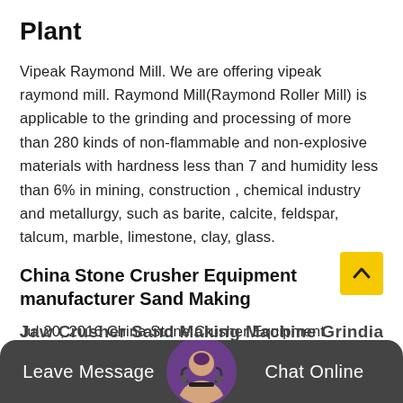Plant
Vipeak Raymond Mill. We are offering vipeak raymond mill. Raymond Mill(Raymond Roller Mill) is applicable to the grinding and processing of more than 280 kinds of non-flammable and non-explosive materials with hardness less than 7 and humidity less than 6% in mining, construction , chemical industry and metallurgy, such as barite, calcite, feldspar, talcum, marble, limestone, clay, glass.
China Stone Crusher Equipment manufacturer Sand Making
Jul 20, 2016 China Stone Crusher Equipment supplier, Sand Making Machine, Grinding Mill Manufacturers/ Suppliers - Henan Zym Mi nd Construction Machinery Co, Ltd.
Jaw Crusher Sand Making Machine Grindia